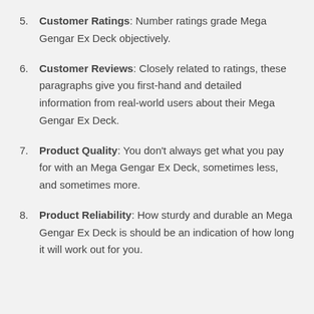Customer Ratings: Number ratings grade Mega Gengar Ex Deck objectively.
Customer Reviews: Closely related to ratings, these paragraphs give you first-hand and detailed information from real-world users about their Mega Gengar Ex Deck.
Product Quality: You don't always get what you pay for with an Mega Gengar Ex Deck, sometimes less, and sometimes more.
Product Reliability: How sturdy and durable an Mega Gengar Ex Deck is should be an indication of how long it will work out for you.